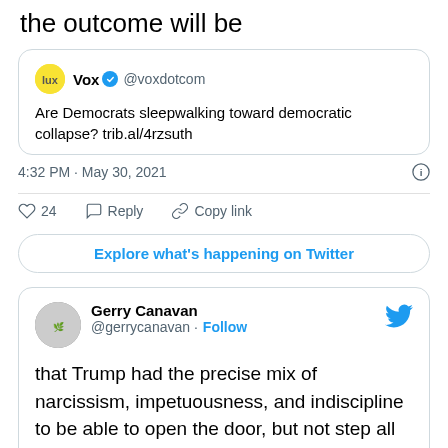the outcome will be
[Figure (screenshot): Embedded tweet from Vox (@voxdotcom) with verified badge. Text: 'Are Democrats sleepwalking toward democratic collapse? trib.al/4rzsuth'. Timestamp: 4:32 PM · May 30, 2021. 24 likes. Reply and Copy link actions. Button: Explore what's happening on Twitter]
[Figure (screenshot): Tweet from Gerry Canavan (@gerrycanavan) with Follow link and Twitter bird logo. Text: 'that Trump had the precise mix of narcissism, impetuousness, and indiscipline to be able to open the door, but not step all the way through it, is a sort of miracle we are perversely determined as a country not to']